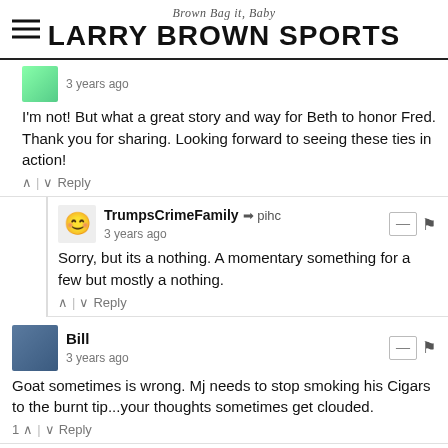Brown Bag it, Baby | LARRY BROWN SPORTS
I'm not! But what a great story and way for Beth to honor Fred. Thank you for sharing. Looking forward to seeing these ties in action!
TrumpsCrimeFamily → pihc  3 years ago
Sorry, but its a nothing. A momentary something for a few but mostly a nothing.
Bill  3 years ago
Goat sometimes is wrong. Mj needs to stop smoking his Cigars to the burnt tip...your thoughts sometimes get clouded.
Larry Brown → Bill